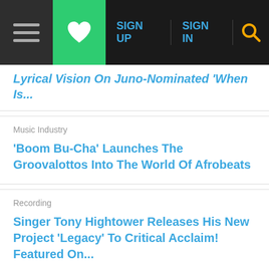SIGN UP  SIGN IN
Lyrical Vision On Juno-Nominated 'When Is...
Music Industry
'Boom Bu-Cha' Launches The Groovalottos Into The World Of Afrobeats
Recording
Singer Tony Hightower Releases His New Project 'Legacy' To Critical Acclaim! Featured On...
Recording
Vocalist Kathy Ingraham's Inspiring New Jazz Album, 'Everlasting Cool' Is Out Of This World